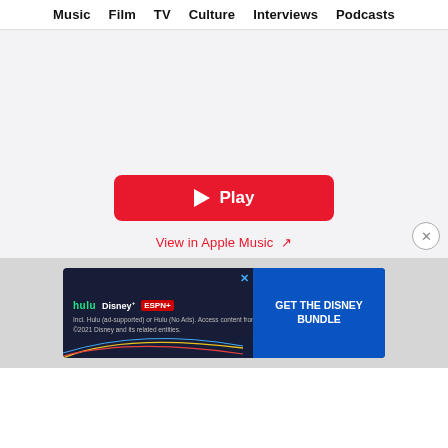Music  Film  TV  Culture  Interviews  Podcasts
[Figure (other): Media player embed area with light gray background, a red Play button, and a 'View in Apple Music' link with arrow. A close (X) button is in the bottom right.]
[Figure (other): Disney Bundle advertisement banner showing Hulu, Disney+, ESPN+ logos and 'GET THE DISNEY BUNDLE' call-to-action with fine print about included services.]